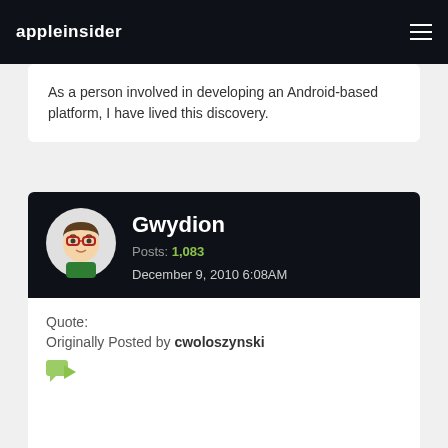appleinsider
As a person involved in developing an Android-based platform, I have lived this discovery.
Gwydion
Posts: 1,083
December 9, 2010 6:08AM
Quote:
Originally Posted by cwoloszynski
Actually, no.